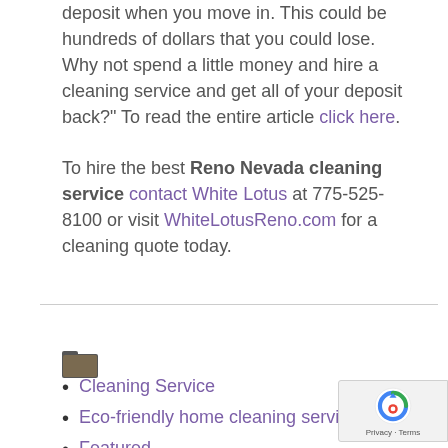deposit when you move in. This could be hundreds of dollars that you could lose. Why not spend a little money and hire a cleaning service and get all of your deposit back?" To read the entire article click here.
To hire the best Reno Nevada cleaning service contact White Lotus at 775-525-8100 or visit WhiteLotusReno.com for a cleaning quote today.
Cleaning Service
Eco-friendly home cleaning service
Featured
House Cleaning R...